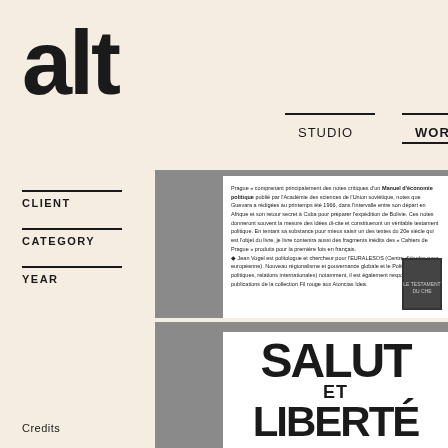alt
STUDIO  WORKS
CLIENT
CATEGORY
YEAR
[Figure (photo): Book interior spread showing text and a book cover image on wooden background]
[Figure (photo): Book spread showing large bold text SALUT ET LIBERTE on white page against wooden background]
Credits